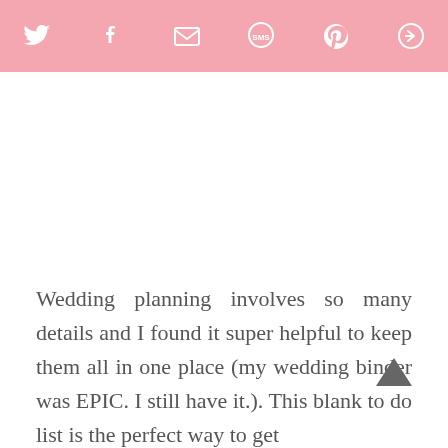[Figure (other): Pink social sharing toolbar with icons for Twitter, Facebook, Email, SMS, Pinterest, and More/Share]
Wedding planning involves so many details and I found it super helpful to keep them all in one place (my wedding binder was EPIC. I still have it.). This blank to do list is the perfect way to get started - it has a spot for you to write your